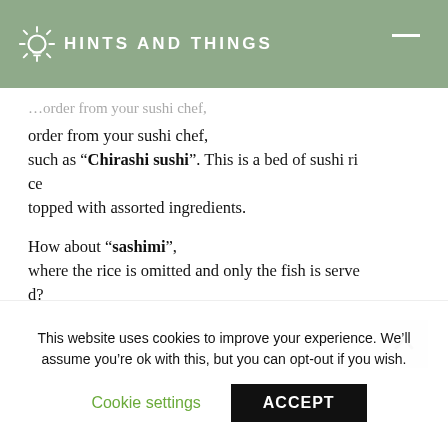HINTS AND THINGS
order from your sushi chef, such as “Chirashi sushi”. This is a bed of sushi rice topped with assorted ingredients.
How about “sashimi”, where the rice is omitted and only the fish is served?
And then there’s “oshizushi”, a box moulded sushi popular in the Kansai region of Japan.
Once you’ve mastered these terms, you’ll have to
This website uses cookies to improve your experience. We’ll assume you’re ok with this, but you can opt-out if you wish.
Cookie settings
ACCEPT